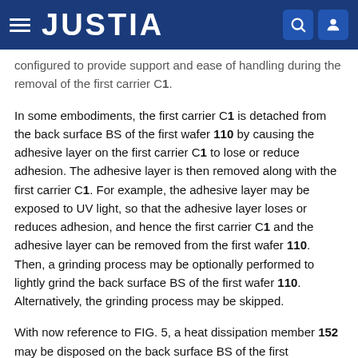JUSTIA
configured to provide support and ease of handling during the removal of the first carrier C1.
In some embodiments, the first carrier C1 is detached from the back surface BS of the first wafer 110 by causing the adhesive layer on the first carrier C1 to lose or reduce adhesion. The adhesive layer is then removed along with the first carrier C1. For example, the adhesive layer may be exposed to UV light, so that the adhesive layer loses or reduces adhesion, and hence the first carrier C1 and the adhesive layer can be removed from the first wafer 110. Then, a grinding process may be optionally performed to lightly grind the back surface BS of the first wafer 110. Alternatively, the grinding process may be skipped.
With now reference to FIG. 5, a heat dissipation member 152 may be disposed on the back surface BS of the first